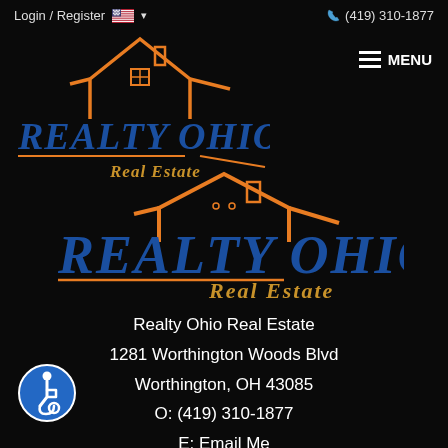Login / Register  🇺🇸 ▾   📞 (419) 310-1877
[Figure (logo): Realty Ohio Real Estate logo (small version) — orange house outline above blue stylized text REALTY OHIO with gold Real Estate text below, orange horizontal lines]
≡ MENU
[Figure (logo): Realty Ohio Real Estate logo (large version) — orange house outline above large blue stylized text REALTY OHIO with gold Real Estate text, orange horizontal lines]
Realty Ohio Real Estate
1281 Worthington Woods Blvd
Worthington, OH 43085
O: (419) 310-1877
E: Email Me
CONNECT
Facebook
[Figure (logo): Accessibility icon — blue circle with white wheelchair user symbol]